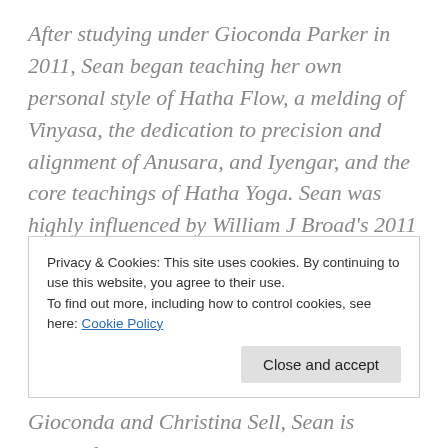After studying under Gioconda Parker in 2011, Sean began teaching her own personal style of Hatha Flow, a melding of Vinyasa, the dedication to precision and alignment of Anusara, and Iyengar, and the core teachings of Hatha Yoga. Sean was highly influenced by William J Broad's 2011 best seller The Science of Yoga, and strives to offer a safe and judgement-free environment for practitioners of every level to seek higher understanding of
Privacy & Cookies: This site uses cookies. By continuing to use this website, you agree to their use.
To find out more, including how to control cookies, see here: Cookie Policy
Gioconda and Christina Sell, Sean is currently